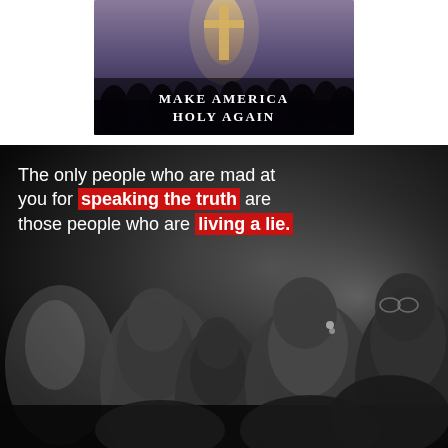[Figure (illustration): Top banner image showing a crowd scene with a cross/figure, overlaid with bold text 'MAKE AMERICA HOLY AGAIN' in white capital letters on a dark background.]
[Figure (photo): Black and white photo of people appearing to be in a congregation or crowd, shot from a low angle. Overlaid with motivational quote text: 'The only people who are mad at you for speaking the truth are those people who are living a lie.' with 'speaking the truth' and 'living a lie.' highlighted in red.]